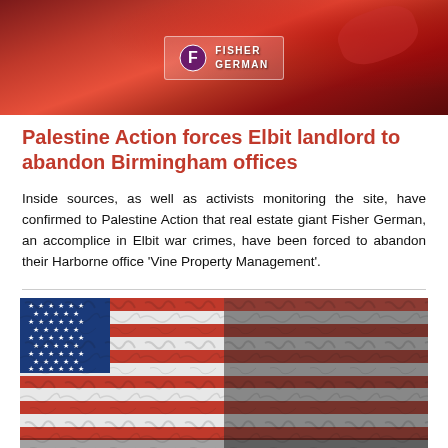[Figure (photo): Red background photo showing a Fisher German logo/sign with paint splashes]
Palestine Action forces Elbit landlord to abandon Birmingham offices
Inside sources, as well as activists monitoring the site, have confirmed to Palestine Action that real estate giant Fisher German, an accomplice in Elbit war crimes, have been forced to abandon their Harborne office ‘Vine Property Management’.
[Figure (photo): Distressed American flag image showing the flag with peeling/crumbling texture, left half in color and right half in black and white with red highlights]